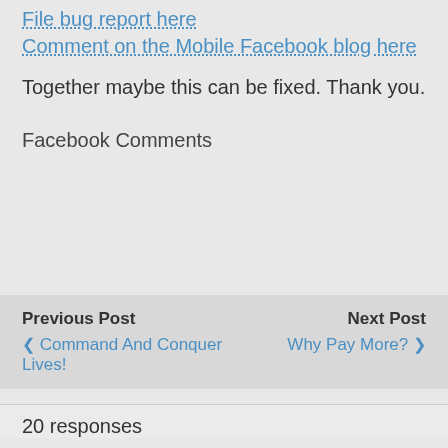File bug report here
Comment on the Mobile Facebook blog here
Together maybe this can be fixed. Thank you.
Facebook Comments
Previous Post
❮ Command And Conquer Lives!
Next Post
Why Pay More? ❯
20 responses